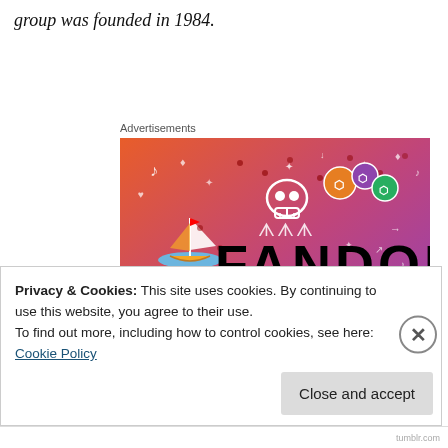group was founded in 1984.
Advertisements
[Figure (illustration): Fandom on Tumblr advertisement banner with orange-to-purple gradient background, white doodles (sailboat, skull, music notes, dice, arrows, hearts), and large black bold text reading FANDOM ON tumblr]
Privacy & Cookies: This site uses cookies. By continuing to use this website, you agree to their use.
To find out more, including how to control cookies, see here: Cookie Policy